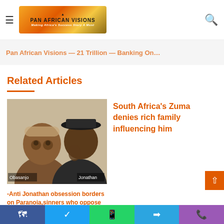Pan African Visions — Making Africa's Success Story A Must
Pan African Visions — 21 Trillion — Banking On...
Related Articles
[Figure (photo): Two men in conversation — labeled Obasanjo and Jonathan]
South Africa's Zuma denies rich family influencing him
-Anti Jonathan obsession borders on Paranoia,sinners who oppose President turn into Saints in Nigeria